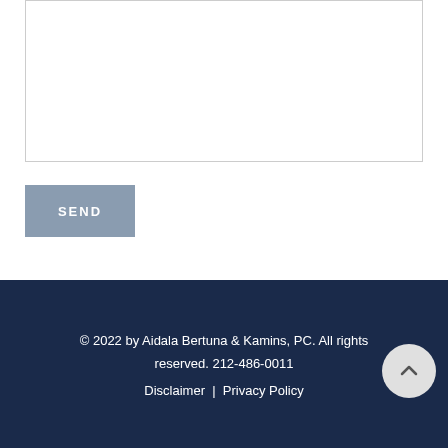[Figure (screenshot): Partial text input area / textarea form field, border visible, white background, cut off at top of page]
SEND
© 2022 by Aidala Bertuna & Kamins, PC. All rights reserved. 212-486-0011
Disclaimer  |  Privacy Policy